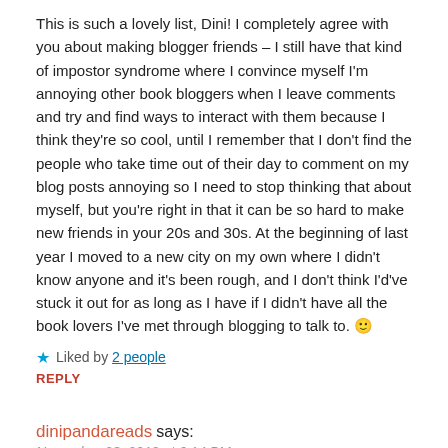This is such a lovely list, Dini! I completely agree with you about making blogger friends – I still have that kind of impostor syndrome where I convince myself I'm annoying other book bloggers when I leave comments and try and find ways to interact with them because I think they're so cool, until I remember that I don't find the people who take time out of their day to comment on my blog posts annoying so I need to stop thinking that about myself, but you're right in that it can be so hard to make new friends in your 20s and 30s. At the beginning of last year I moved to a new city on my own where I didn't know anyone and it's been rough, and I don't think I'd've stuck it out for as long as I have if I didn't have all the book lovers I've met through blogging to talk to. 🙂
Liked by 2 people
REPLY
dinipandareads says:
November 28, 2019 at 6:14 PM
Thanks Jess! You make a really good point about thinking from the other perspective. I love when people comment and engage with me on my